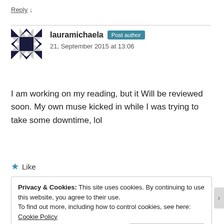Reply ↓
lauramichaela  Post author
21, September 2015 at 13:06
I am working on my reading, but it Will be reviewed soon. My own muse kicked in while I was trying to take some downtime, lol
★ Like
Privacy & Cookies: This site uses cookies. By continuing to use this website, you agree to their use.
To find out more, including how to control cookies, see here: Cookie Policy
Close and accept